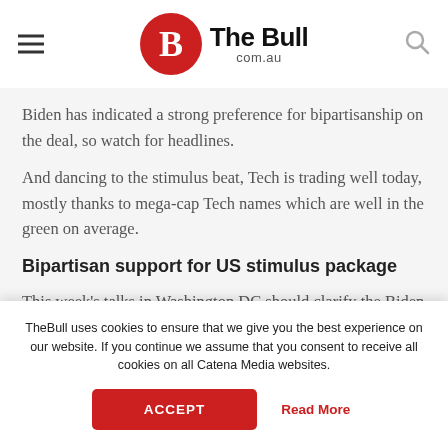[Figure (logo): The Bull com.au logo with red circle containing white B, bold 'The Bull' text and 'com.au' subtitle]
Biden has indicated a strong preference for bipartisanship on the deal, so watch for headlines.
And dancing to the stimulus beat, Tech is trading well today, mostly thanks to mega-cap Tech names which are well in the green on average.
Bipartisan support for US stimulus package
This week's talks in Washington DC should clarify the Biden administration's stance on fiscal stimulus. The
TheBull uses cookies to ensure that we give you the best experience on our website. If you continue we assume that you consent to receive all cookies on all Catena Media websites.